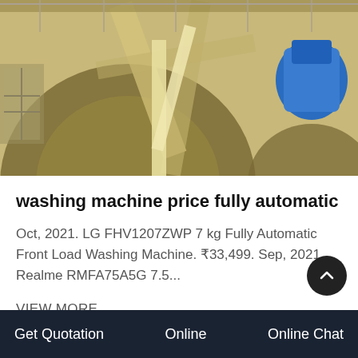[Figure (photo): Industrial machinery photo showing large gear wheels and mechanical components with a blue motor/component, yellowish tones]
washing machine price fully automatic
Oct, 2021. LG FHV1207ZWP 7 kg Fully Automatic Front Load Washing Machine. ₹33,499. Sep, 2021. Realme RMFA75A5G 7.5...
VIEW MORE
[Figure (photo): Industrial warehouse or factory floor with red crane/equipment visible]
Get Quotation   Online   Online Chat